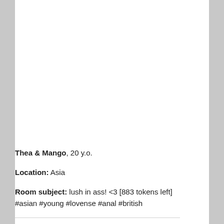Thea & Mango, 20 y.o.
Location: Asia
Room subject: lush in ass! <3 [883 tokens left] #asian #young #lovense #anal #british